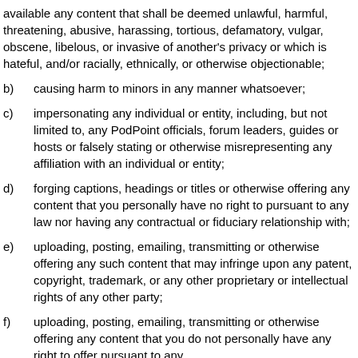available any content that shall be deemed unlawful, harmful, threatening, abusive, harassing, tortious, defamatory, vulgar, obscene, libelous, or invasive of another's privacy or which is hateful, and/or racially, ethnically, or otherwise objectionable;
b)   causing harm to minors in any manner whatsoever;
c)   impersonating any individual or entity, including, but not limited to, any PodPoint officials, forum leaders, guides or hosts or falsely stating or otherwise misrepresenting any affiliation with an individual or entity;
d)   forging captions, headings or titles or otherwise offering any content that you personally have no right to pursuant to any law nor having any contractual or fiduciary relationship with;
e)   uploading, posting, emailing, transmitting or otherwise offering any such content that may infringe upon any patent, copyright, trademark, or any other proprietary or intellectual rights of any other party;
f)   uploading, posting, emailing, transmitting or otherwise offering any content that you do not personally have any right to offer pursuant to any